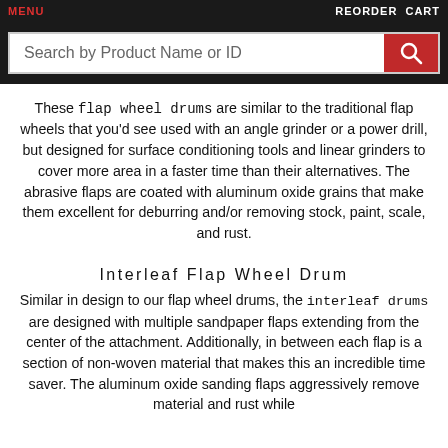MENU | REORDER CART
[Figure (screenshot): Search bar with red search button and placeholder text 'Search by Product Name or ID']
These flap wheel drums are similar to the traditional flap wheels that you'd see used with an angle grinder or a power drill, but designed for surface conditioning tools and linear grinders to cover more area in a faster time than their alternatives. The abrasive flaps are coated with aluminum oxide grains that make them excellent for deburring and/or removing stock, paint, scale, and rust.
Interleaf Flap Wheel Drum
Similar in design to our flap wheel drums, the interleaf drums are designed with multiple sandpaper flaps extending from the center of the attachment. Additionally, in between each flap is a section of non-woven material that makes this an incredible time saver. The aluminum oxide sanding flaps aggressively remove material and rust while